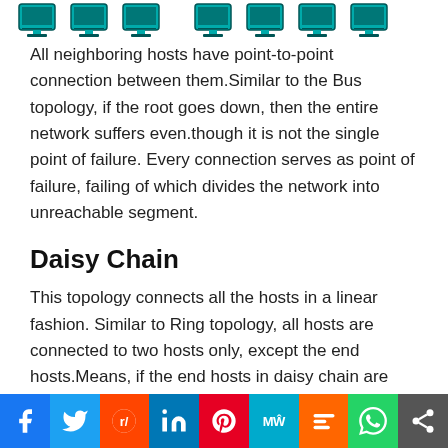[Figure (illustration): Row of computer/monitor icons at the top of the page]
All neighboring hosts have point-to-point connection between them.Similar to the Bus topology, if the root goes down, then the entire network suffers even.though it is not the single point of failure. Every connection serves as point of failure, failing of which divides the network into unreachable segment.
Daisy Chain
This topology connects all the hosts in a linear fashion. Similar to Ring topology, all hosts are connected to two hosts only, except the end hosts.Means, if the end hosts in daisy chain are
[Figure (infographic): Social media sharing bar with icons for Facebook, Twitter, Reddit, LinkedIn, Pinterest, MeWe, Mix, WhatsApp, and Share]